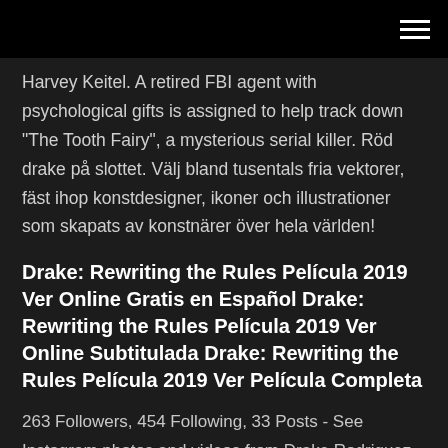Harvey Keitel. A retired FBI agent with psychological gifts is assigned to help track down "The Tooth Fairy", a mysterious serial killer. Röd drake på slottet. Välj bland tusentals fria vektorer, fäst ihop konstdesigner, ikoner och illustrationer som skapats av konstnärer över hela världen!
Drake: Rewriting the Rules Película 2019 Ver Online Gratis en Español Drake: Rewriting the Rules Película 2019 Ver Online Subtitulada Drake: Rewriting the Rules Película 2019 Ver Película Completa
263 Followers, 454 Following, 33 Posts - See Instagram photos and videos from Drake Rodriguez (@drakerod5) Enjoy the videos and music you love, upload original